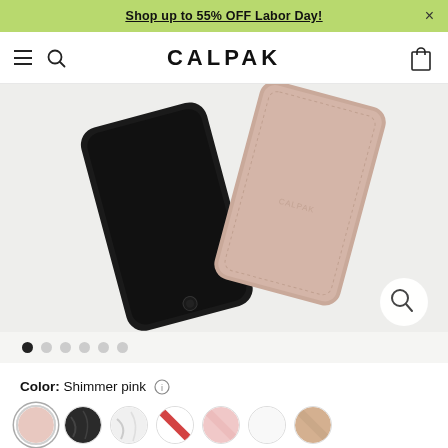Shop up to 55% OFF Labor Day!
[Figure (logo): CALPAK brand logo with hamburger menu, search icon, and bag icon in navigation bar]
[Figure (photo): Two phone cases on light grey background: a black glossy phone case and a shimmer pink textured leather-look case with CALPAK embossed logo, overlapping each other]
Color: Shimmer pink
[Figure (illustration): Color swatches row: shimmer pink (selected), black marble, white marble, red stripe, blush pink, white, tan/nude]